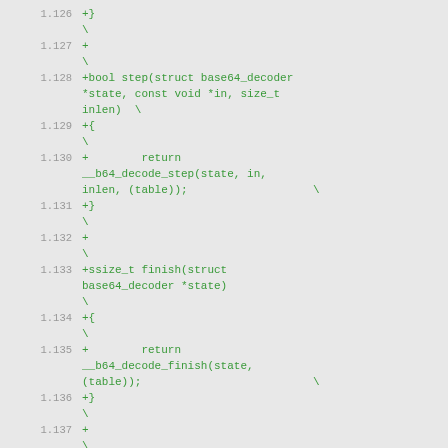1.126  +}
       \
1.127  +
       \
1.128  +bool step(struct base64_decoder *state, const void *in, size_t inlen)  \
1.129  +{
       \
1.130  +        return __b64_decode_step(state, in, inlen, (table));         \
1.131  +}
       \
1.132  +
       \
1.133  +ssize_t finish(struct base64_decoder *state)
       \
1.134  +{
       \
1.135  +        return __b64_decode_finish(state, (table));                  \
1.136  +}
       \
1.137  +
       \
1.138  +ssize_t whole(void *out, const char *in, size_t inlen)